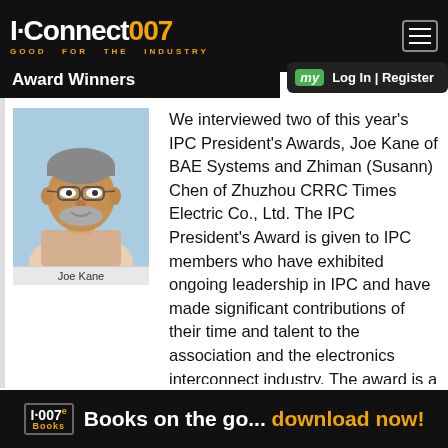I-Connect007 GOOD FOR THE INDUSTRY
Award Winners
[Figure (photo): Headshot photo of Joe Kane, a middle-aged man with glasses and a beard, wearing a striped shirt, against a light blue background. Caption reads: Joe Kane]
We interviewed two of this year's IPC President's Awards, Joe Kane of BAE Systems and Zhiman (Susann) Chen of Zhuzhou CRRC Times Electric Co., Ltd. The IPC President's Award is given to IPC members who have exhibited ongoing leadership in IPC and have made significant contributions of their time and talent to the association and the electronics interconnect industry. The award is a personal honor to
I-007e Books  Books on the go... download now!